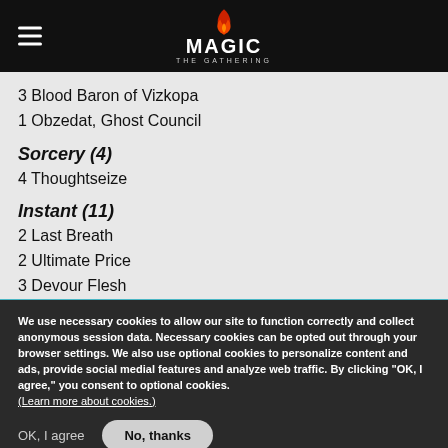Magic: The Gathering
3 Blood Baron of Vizkopa
1 Obzedat, Ghost Council
Sorcery (4)
4 Thoughtseize
Instant (11)
2 Last Breath
2 Ultimate Price
3 Devour Flesh
We use necessary cookies to allow our site to function correctly and collect anonymous session data. Necessary cookies can be opted out through your browser settings. We also use optional cookies to personalize content and ads, provide social medial features and analyze web traffic. By clicking “OK, I agree,” you consent to optional cookies. (Learn more about cookies.)